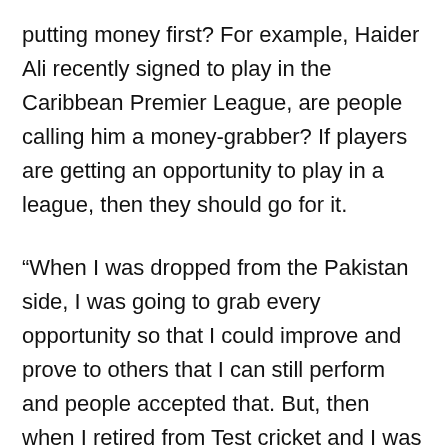putting money first? For example, Haider Ali recently signed to play in the Caribbean Premier League, are people calling him a money-grabber? If players are getting an opportunity to play in a league, then they should go for it.
“When I was dropped from the Pakistan side, I was going to grab every opportunity so that I could improve and prove to others that I can still perform and people accepted that. But, then when I retired from Test cricket and I was playing in leagues around the world, suddenly people started saying it was all about money,” Amir added.